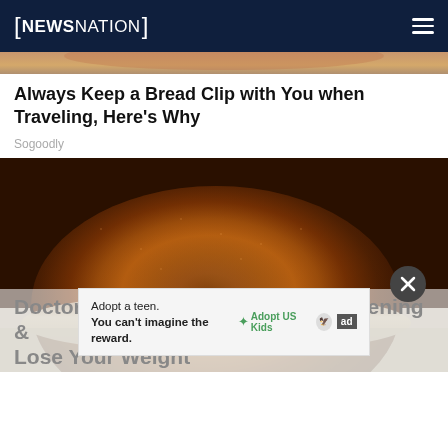NEWSNATION
[Figure (photo): Partial top strip of a food image, tan/orange tones]
Always Keep a Bread Clip with You when Traveling, Here's Why
Sogoodly
[Figure (photo): Close-up photo of a mound of brown spice powder (likely cinnamon) in a wooden bowl on a gray surface, with an advertisement overlay reading 'Adopt a teen. You can't imagine the reward.' and a close button]
Doctors Stunned: Do This Every Evening & Lose Your Weight